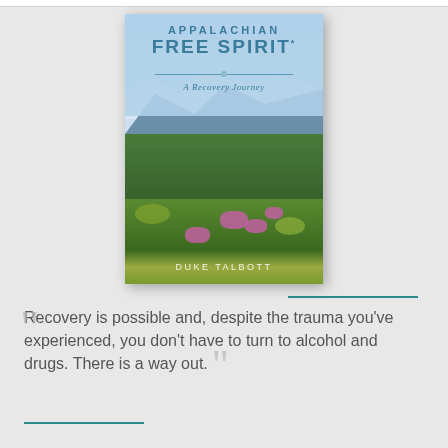[Figure (illustration): Book cover for 'Appalachian Free Spirit: A Recovery Journey' by Duke Talbott. Light blue top section with title text, below is a scenic Appalachian mountain landscape with green hills, wildflowers (pink and yellow), and a partly cloudy sky.]
Recovery is possible and, despite the trauma you've experienced, you don't have to turn to alcohol and drugs. There is a way out.